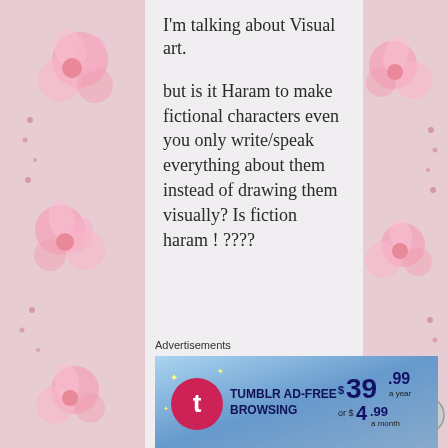[Figure (illustration): Pink floral decorative border on left and right sides of the page]
I'm talking about Visual art.

but is it Haram to make fictional characters even you only write/speak everything about them instead of drawing them visually? Is fiction haram ! ????
★ Like
Advertisements
[Figure (advertisement): Tumblr Ad-Free Browsing advertisement banner. $39.99 a year or $4.99 a month]